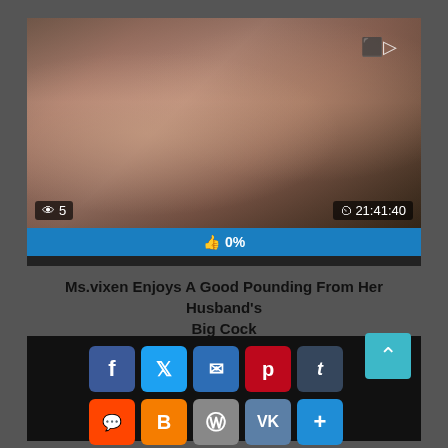[Figure (screenshot): Video thumbnail showing adult content with view count '5' and duration '21:41:40', and a blue rating bar showing '0%']
Ms.vixen Enjoys A Good Pounding From Her Husband&#39;s Big Cock
[Figure (infographic): Social media sharing buttons: Facebook, Twitter, Email, Pinterest, Tumblr, Reddit, Blogger, WordPress, VK, More, and a scroll-to-top button]